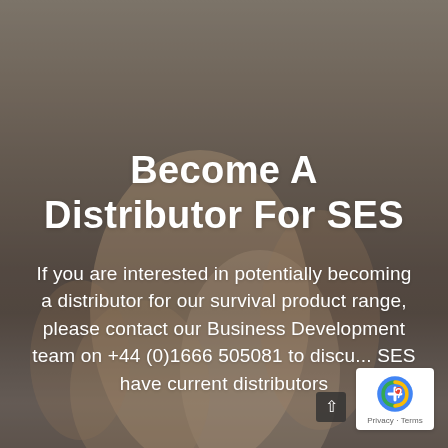[Figure (photo): Background photo of a person's hand resting on a surface, with a warm brownish-grey tone. Overlaid with semi-transparent dark filter.]
Become A Distributor For SES
If you are interested in potentially becoming a distributor for our survival product range, please contact our Business Development team on +44 (0)1666 505081 to discus... SES have current distributors